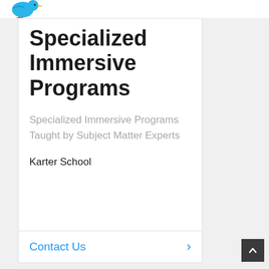[Figure (logo): Blue bird logo with yellow beak and red legs, partial view at top left]
Specialized Immersive Programs
Specialized Immersive Programs Taught by Subject Matter Experts
Karter School
Contact Us >